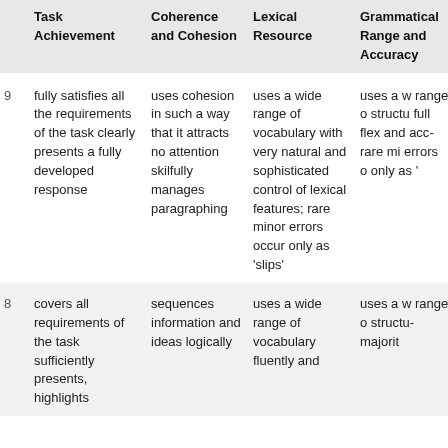|  | Task Achievement | Coherence and Cohesion | Lexical Resource | Grammatical Range and Accuracy |
| --- | --- | --- | --- | --- |
| 9 | fully satisfies all the requirements of the task clearly presents a fully developed response | uses cohesion in such a way that it attracts no attention skilfully manages paragraphing | uses a wide range of vocabulary with very natural and sophisticated control of lexical features; rare minor errors occur only as 'slips' | uses a wide range of structures with full flexibility and accuracy rare minor errors occur only as 'slips' |
| 8 | covers all requirements of the task sufficiently presents, highlights | sequences information and ideas logically | uses a wide range of vocabulary fluently and | uses a wide range of structures majority |